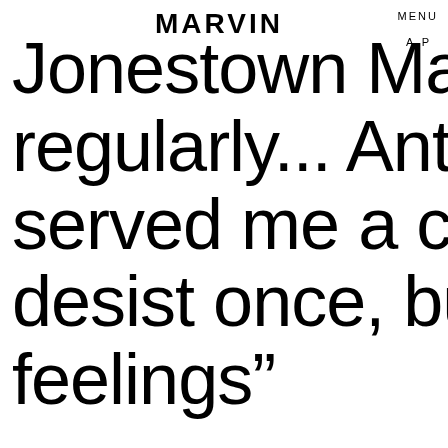MARVIN
MENU  A P
Jonestown Massacre regularly... Anton actually served me a cease and desist once, but no hard feelings”